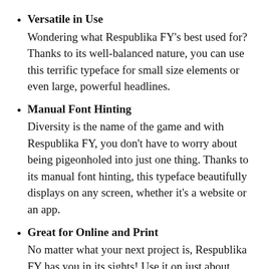Versatile in Use
Wondering what Respublika FY’s best used for? Thanks to its well-balanced nature, you can use this terrific typeface for small size elements or even large, powerful headlines.
Manual Font Hinting
Diversity is the name of the game and with Respublika FY, you don’t have to worry about being pigeonholed into just one thing. Thanks to its manual font hinting, this typeface beautifully displays on any screen, whether it’s a website or an app.
Great for Online and Print
No matter what your next project is, Respublika FY has you in its sights! Use it on just about anything you’re currently working on whether it’s online or in print. That goes for headlines, magazines, logos, posters, book covers, packaging, editorial pieces, you name